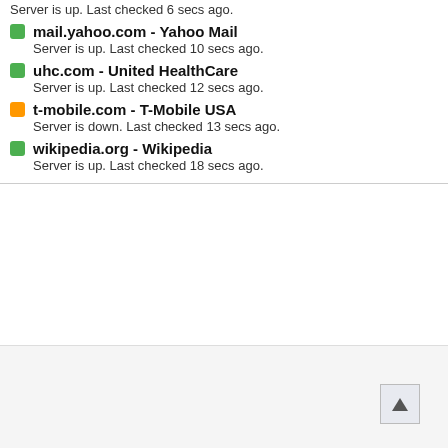Server is up. Last checked 6 secs ago.
mail.yahoo.com - Yahoo Mail
Server is up. Last checked 10 secs ago.
uhc.com - United HealthCare
Server is up. Last checked 12 secs ago.
t-mobile.com - T-Mobile USA
Server is down. Last checked 13 secs ago.
wikipedia.org - Wikipedia
Server is up. Last checked 18 secs ago.
[Figure (other): Back to top arrow button in bottom right corner]